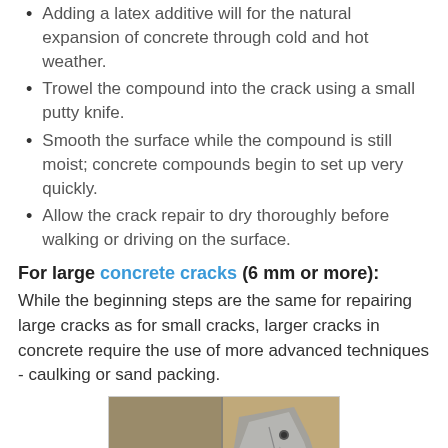Adding a latex additive will for the natural expansion of concrete through cold and hot weather.
Trowel the compound into the crack using a small putty knife.
Smooth the surface while the compound is still moist; concrete compounds begin to set up very quickly.
Allow the crack repair to dry thoroughly before walking or driving on the surface.
For large concrete cracks (6 mm or more):
While the beginning steps are the same for repairing large cracks as for small cracks, larger cracks in concrete require the use of more advanced techniques - caulking or sand packing.
[Figure (photo): Photo of a caulking gun applying gray compound to a concrete wall crack]